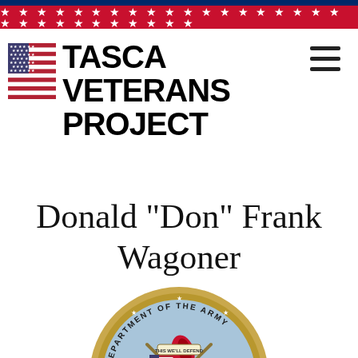Tasca Veterans Project
Donald "Don" Frank Wagoner
[Figure (logo): Department of the Army official seal, partially cropped at bottom of page]